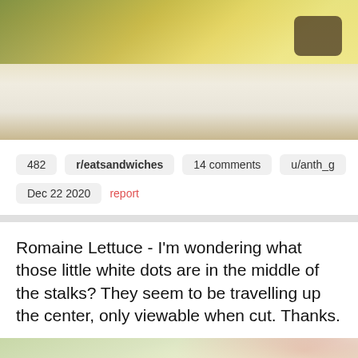[Figure (photo): Close-up photo of food, appears to be a sandwich or open-faced dish with green herb/spice topping on a white surface, dark meat visible at upper right]
482   r/eatsandwiches   14 comments   u/anth_g
Dec 22 2020   report
Romaine Lettuce - I'm wondering what those little white dots are in the middle of the stalks? They seem to be travelling up the center, only viewable when cut. Thanks.
[Figure (photo): Close-up photo of romaine lettuce stalk cut open, showing pale yellow-green interior with white areas, pink finger visible at upper right edge]